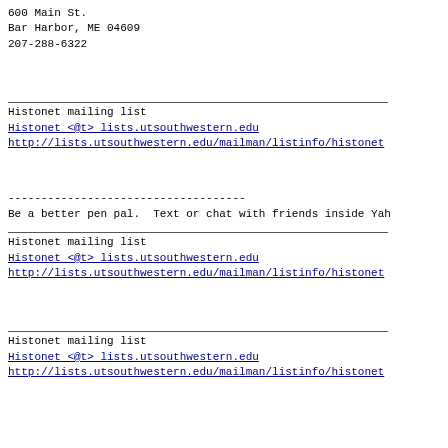600 Main St.
Bar Harbor, ME 04609
207-288-6322
Histonet mailing list
Histonet <@t> lists.utsouthwestern.edu
http://lists.utsouthwestern.edu/mailman/listinfo/histonet
------------------------------------
Be a better pen pal. Text or chat with friends inside Yah
Histonet mailing list
Histonet <@t> lists.utsouthwestern.edu
http://lists.utsouthwestern.edu/mailman/listinfo/histonet
Histonet mailing list
Histonet <@t> lists.utsouthwestern.edu
http://lists.utsouthwestern.edu/mailman/listinfo/histonet